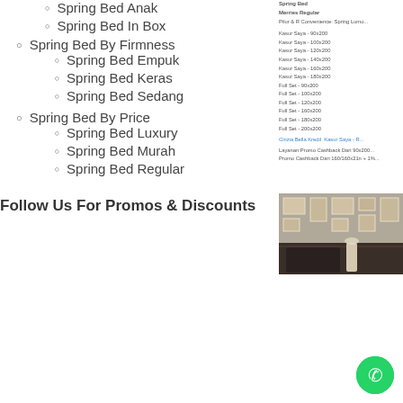Spring Bed Anak
Spring Bed In Box
Spring Bed By Firmness
Spring Bed Empuk
Spring Bed Keras
Spring Bed Sedang
Spring Bed By Price
Spring Bed Luxury
Spring Bed Murah
Spring Bed Regular
Follow Us For Promos & Discounts
[Figure (screenshot): Right column sidebar with text links and navigation items related to spring bed product categories and sizes, followed by a bedroom photo]
[Figure (photo): Bedroom interior photo showing framed wall art above a bed with a lamp]